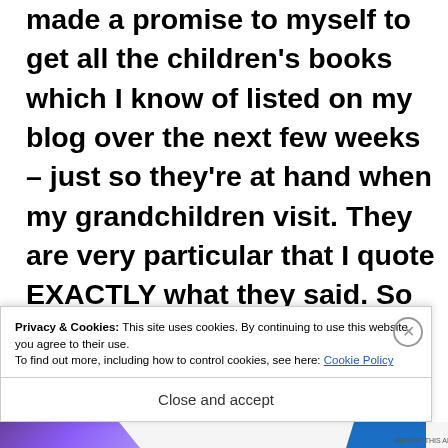made a promise to myself to get all the children's books which I know of listed on my blog over the next few weeks – just so they're at hand when my grandchildren visit. They are very particular that I quote EXACTLY what they said. So I've got some tough cookies to deal with, but thanks for popping in. The support from the RRBC authors have been overwhelming. Have a lovely day and I'm
Privacy & Cookies: This site uses cookies. By continuing to use this website, you agree to their use.
To find out more, including how to control cookies, see here: Cookie Policy
Close and accept